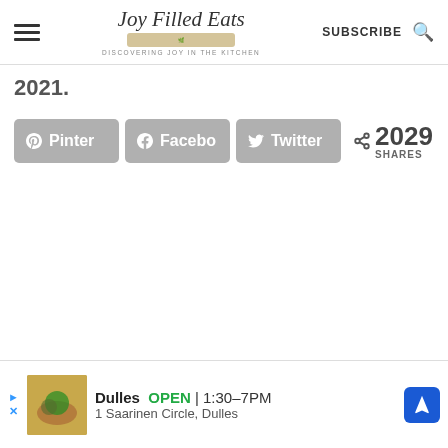Joy Filled Eats — DISCOVERING JOY IN THE KITCHEN — SUBSCRIBE
2021.
Pinterest  Facebook  Twitter  2029 SHARES
[Figure (screenshot): Advertisement banner showing a restaurant: Dulles, OPEN | 1:30–7PM, 1 Saarinen Circle, Dulles]